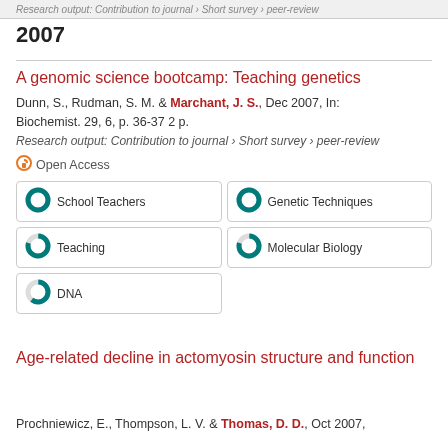Research output: Contribution to journal › Short survey › peer-review
2007
A genomic science bootcamp: Teaching genetics
Dunn, S., Rudman, S. M. & Marchant, J. S., Dec 2007, In: Biochemist. 29, 6, p. 36-37 2 p.
Research output: Contribution to journal › Short survey › peer-review
Open Access
School Teachers
Genetic Techniques
Teaching
Molecular Biology
DNA
Age-related decline in actomyosin structure and function
Prochniewicz, E., Thompson, L. V. & Thomas, D. D., Oct 2007,